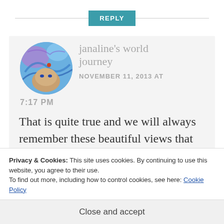REPLY
[Figure (photo): Circular avatar photo showing an artistic/abstract blue swirl painting with a woman's face]
janaline's world journey NOVEMBER 11, 2013 AT 7:17 PM
That is quite true and we will always remember these beautiful views that we suffered for that day. It was worth
Privacy & Cookies: This site uses cookies. By continuing to use this website, you agree to their use.
To find out more, including how to control cookies, see here: Cookie Policy
Close and accept